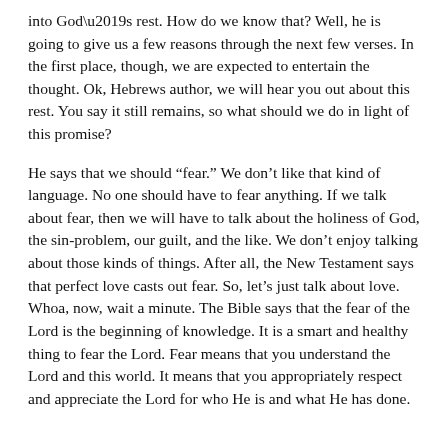into God’s rest. How do we know that? Well, he is going to give us a few reasons through the next few verses. In the first place, though, we are expected to entertain the thought. Ok, Hebrews author, we will hear you out about this rest. You say it still remains, so what should we do in light of this promise?
He says that we should “fear.” We don’t like that kind of language. No one should have to fear anything. If we talk about fear, then we will have to talk about the holiness of God, the sin-problem, our guilt, and the like. We don’t enjoy talking about those kinds of things. After all, the New Testament says that perfect love casts out fear. So, let’s just talk about love. Whoa, now, wait a minute. The Bible says that the fear of the Lord is the beginning of knowledge. It is a smart and healthy thing to fear the Lord. Fear means that you understand the Lord and this world. It means that you appropriately respect and appreciate the Lord for who He is and what He has done.